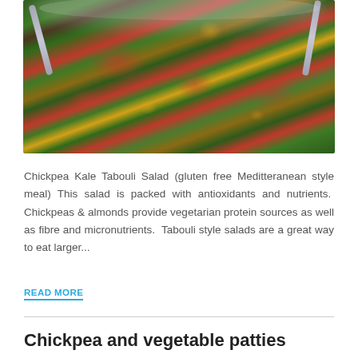[Figure (photo): A bowl of Chickpea Kale Tabouli Salad with serving utensils, showing green herbs, red tomatoes, and chickpeas]
Chickpea Kale Tabouli Salad (gluten free Meditteranean style meal) This salad is packed with antioxidants and nutrients.  Chickpeas & almonds provide vegetarian protein sources as well as fibre and micronutrients.  Tabouli style salads are a great way to eat larger...
READ MORE
Chickpea and vegetable patties